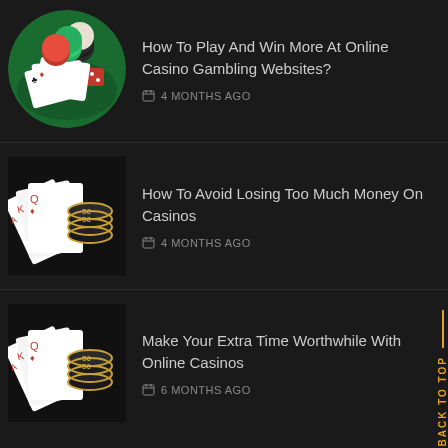[Figure (photo): Circular thumbnail of casino chips, playing cards, and dice on a green table]
How To Play And Win More At Online Casino Gambling Websites?
4 MONTHS AGO
[Figure (photo): Thumbnail of playing cards fanned out with dark casino chips stacked behind]
How To Avoid Losing Too Much Money On Casinos
4 MONTHS AGO
[Figure (photo): Thumbnail of playing cards fanned out with dark casino chips stacked behind]
Make Your Extra Time Worthwhile With Online Casinos
6 MONTHS AGO